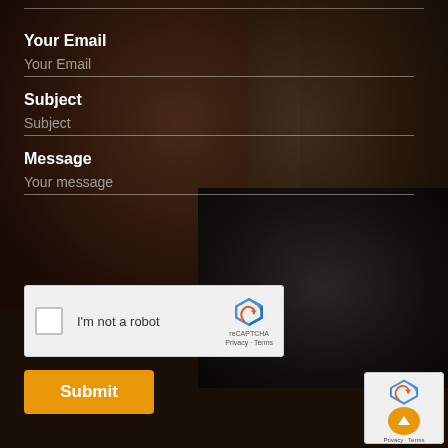Your Email
Your Email
Subject
Subject
Message
Your message
[Figure (other): reCAPTCHA widget: checkbox labeled 'I'm not a robot' with reCAPTCHA logo, Privacy and Terms links]
Submit
[Figure (other): Bottom-right reCAPTCHA badge with logo, orange back-to-top arrow button, Privacy and Terms links]